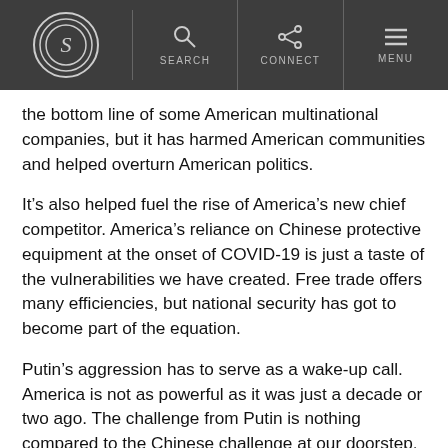S | SEARCH | CONNECT | MENU
the bottom line of some American multinational companies, but it has harmed American communities and helped overturn American politics.
It’s also helped fuel the rise of America’s new chief competitor. America’s reliance on Chinese protective equipment at the onset of COVID-19 is just a taste of the vulnerabilities we have created. Free trade offers many efficiencies, but national security has got to become part of the equation.
Putin’s aggression has to serve as a wake-up call. America is not as powerful as it was just a decade or two ago. The challenge from Putin is nothing compared to the Chinese challenge at our doorstep.